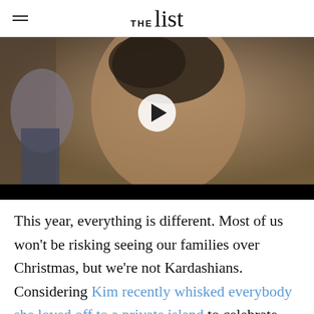THE list
[Figure (photo): Close-up photo of an older woman with grey hair wearing a green jacket, with a video play button overlay. Black bar at bottom.]
This year, everything is different. Most of us won't be risking seeing our families over Christmas, but we're not Kardashians. Considering Kim recently whisked everybody she loved off to a private island to celebrate her 40th birthday and her younger half-sister Kendall Jenner subsequently held her own over-